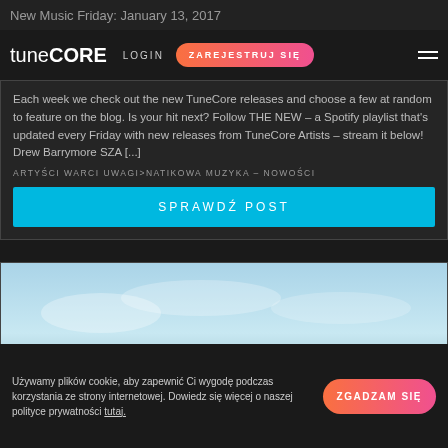New Music Friday: January 13, 2017
[Figure (logo): TuneCore logo with LOGIN and ZAREJESTRUJ SIĘ buttons and hamburger menu]
Each week we check out the new TuneCore releases and choose a few at random to feature on the blog. Is your hit next? Follow THE NEW – a Spotify playlist that's updated every Friday with new releases from TuneCore Artists – stream it below! Drew Barrymore SZA [...]
ARTYŚCI WARCI UWAGI>NATIKOWA MUZYKA – NOWOŚCI
SPRAWDŹ POST
[Figure (photo): Background image of sky/aerial view with large text overlay reading WEDNESDAY VIDEO DIVERSION]
Używamy plików cookie, aby zapewnić Ci wygodę podczas korzystania ze strony internetowej. Dowiedz się więcej o naszej polityce prywatności tutaj.
ZGADZAM SIĘ